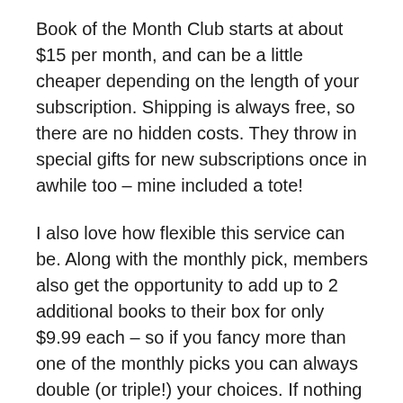Book of the Month Club starts at about $15 per month, and can be a little cheaper depending on the length of your subscription. Shipping is always free, so there are no hidden costs. They throw in special gifts for new subscriptions once in awhile too – mine included a tote!
I also love how flexible this service can be. Along with the monthly pick, members also get the opportunity to add up to 2 additional books to their box for only $9.99 each – so if you fancy more than one of the monthly picks you can always double (or triple!) your choices. If nothing appeals that month, you can also skip a month and extend your subscription for free.